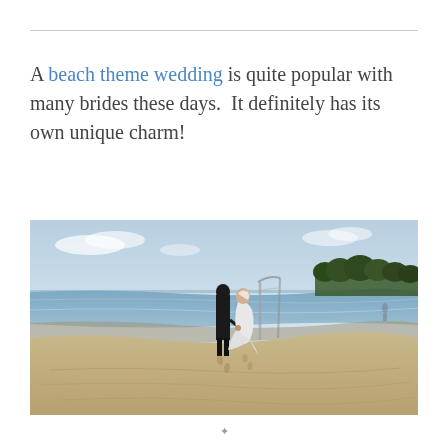A beach theme wedding is quite popular with many brides these days.  It definitely has its own unique charm!
[Figure (photo): A couple in wedding attire walking along a sandy beach shoreline, viewed from behind. The groom wears a dark suit and the bride wears a white dress. Ocean to the left, trees in the background.]